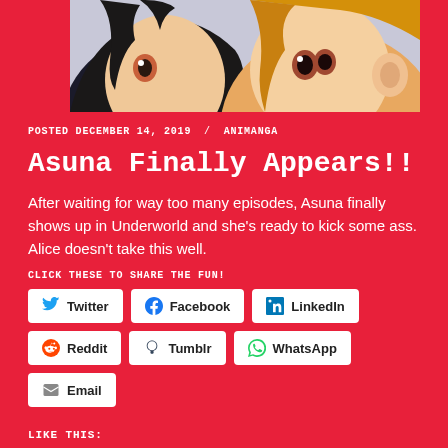[Figure (illustration): Anime-style illustration showing two characters close-up: a dark-haired character on the left and a light-haired character on the right, both with large expressive eyes in anime style.]
POSTED DECEMBER 14, 2019 / ANIMANGA
Asuna Finally Appears!!
After waiting for way too many episodes, Asuna finally shows up in Underworld and she's ready to kick some ass. Alice doesn't take this well.
CLICK THESE TO SHARE THE FUN!
Twitter  Facebook  LinkedIn  Reddit  Tumblr  WhatsApp  Email
LIKE THIS:
Loading...